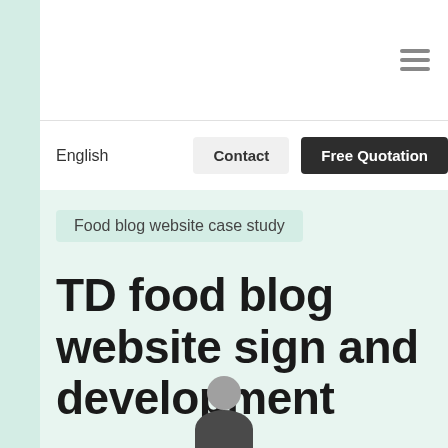Navigation bar with hamburger menu icon
English | Contact | Free Quotation
Food blog website case study
TD food blog website sign and development
[Figure (illustration): User avatar icon showing a grey circle head and dark semi-circular body at the bottom of the page]